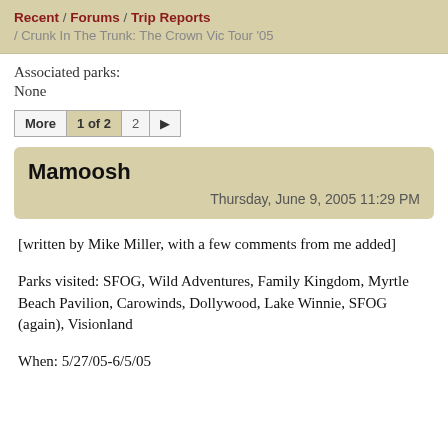Recent / Forums / Trip Reports / Crunk In The Trunk: The Crown Vic Tour '05
Associated parks:
None
More  1 of 2  2  ►
Mamoosh
Thursday, June 9, 2005 11:29 PM
[written by Mike Miller, with a few comments from me added]
Parks visited: SFOG, Wild Adventures, Family Kingdom, Myrtle Beach Pavilion, Carowinds, Dollywood, Lake Winnie, SFOG (again), Visionland

When: 5/27/05-6/5/05